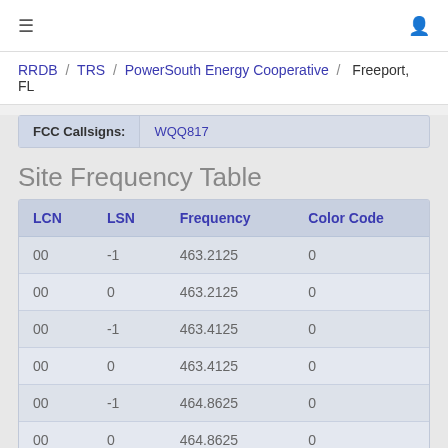≡  🔑
RRDB / TRS / PowerSouth Energy Cooperative / Freeport, FL
| FCC Callsigns: | WQQ817 |
| --- | --- |
Site Frequency Table
| LCN | LSN | Frequency | Color Code |
| --- | --- | --- | --- |
| 00 | -1 | 463.2125 | 0 |
| 00 | 0 | 463.2125 | 0 |
| 00 | -1 | 463.4125 | 0 |
| 00 | 0 | 463.4125 | 0 |
| 00 | -1 | 464.8625 | 0 |
| 00 | 0 | 464.8625 | 0 |
| 00 | -1 | 463.3125 | 0 |